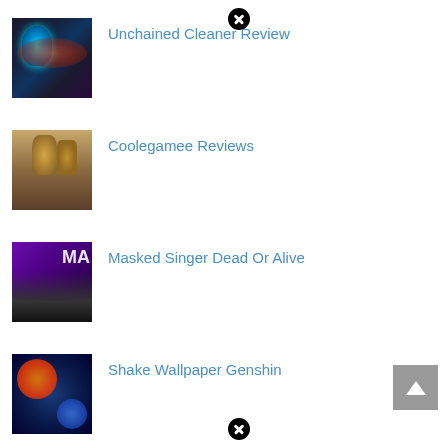[Figure (illustration): Dark fantasy artwork thumbnail with blue glowing character]
Unchained Cleaner Review
[Figure (photo): Product photo thumbnail showing jars and bottles on wooden surface]
Coolegamee Reviews
[Figure (photo): Masked Singer TV show thumbnail with purple background and MA text]
Masked Singer Dead Or Alive
[Figure (illustration): Colorful artistic illustration thumbnail with circular shapes]
Shake Wallpaper Genshin